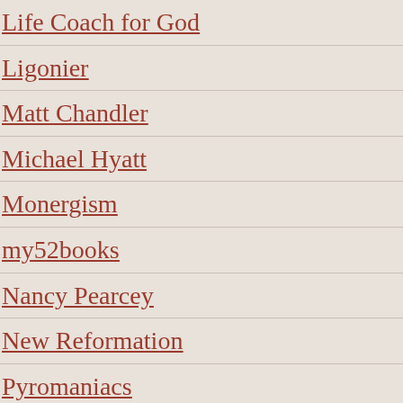Life Coach for God
Ligonier
Matt Chandler
Michael Hyatt
Monergism
my52books
Nancy Pearcey
New Reformation
Pyromaniacs
Randy Alcorn